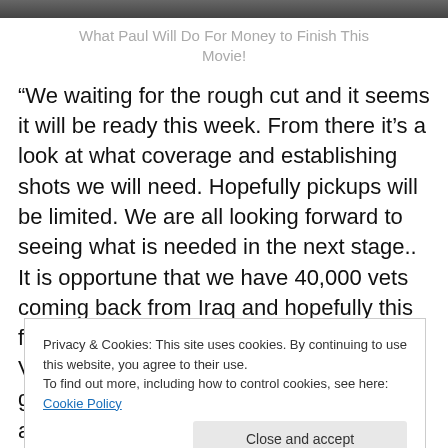[Figure (photo): Partial photo strip at top of page, showing cropped image of people]
What Paul Will Do For Money to Finish This Movie!
“We waiting for the rough cut and it seems it will be ready this week. From there it’s a look at what coverage and establishing shots we will need. Hopefully pickups will be limited. We are all looking forward to seeing what is needed in the next stage.. It is opportune that we have 40,000 vets coming back from Iraq and hopefully this film will help with the ongoing story of Vets in the US.”  – Paul Fonhoorn (I’m guessing.)
Privacy & Cookies: This site uses cookies. By continuing to use this website, you agree to their use.
To find out more, including how to control cookies, see here: Cookie Policy
affect.)